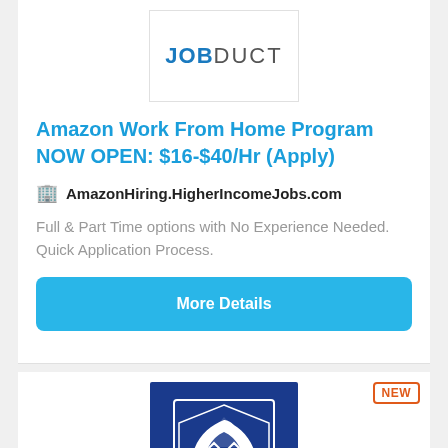[Figure (logo): JobDuct logo with JOB in bold blue and DUCT in gray]
Amazon Work From Home Program NOW OPEN: $16-$40/Hr (Apply)
AmazonHiring.HigherIncomeJobs.com
Full & Part Time options with No Experience Needed. Quick Application Process.
More Details
[Figure (logo): USPS eagle logo on dark blue background]